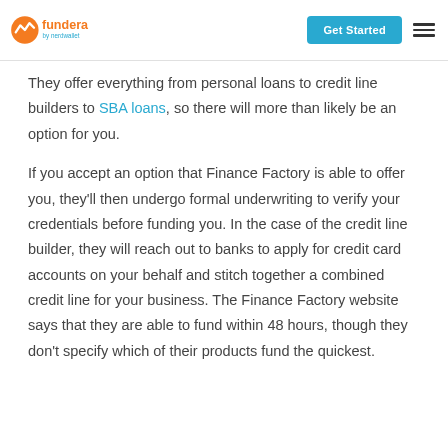Fundera by nerdwallet | Get Started
They offer everything from personal loans to credit line builders to SBA loans, so there will more than likely be an option for you.
If you accept an option that Finance Factory is able to offer you, they'll then undergo formal underwriting to verify your credentials before funding you. In the case of the credit line builder, they will reach out to banks to apply for credit card accounts on your behalf and stitch together a combined credit line for your business. The Finance Factory website says that they are able to fund within 48 hours, though they don't specify which of their products fund the quickest.